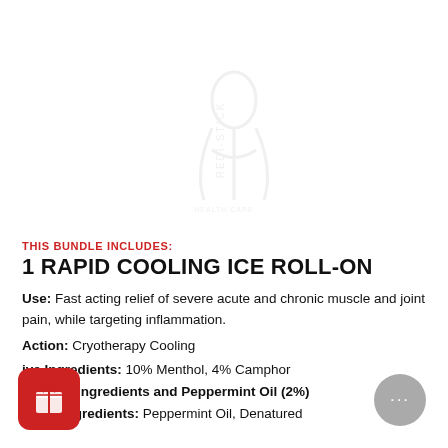[Figure (logo): Faded watermark logo of Redi-Stick or similar brand in light gray]
THIS BUNDLE INCLUDES:
1 RAPID COOLING ICE ROLL-ON
Use: Fast acting relief of severe acute and chronic muscle and joint pain, while targeting inflammation.
Action: Cryotherapy Cooling
Active Ingredients: 10% Menthol, 4% Camphor
s Active ingredients and Peppermint Oil (2%)
Other Ingredients: Peppermint Oil, Denatured